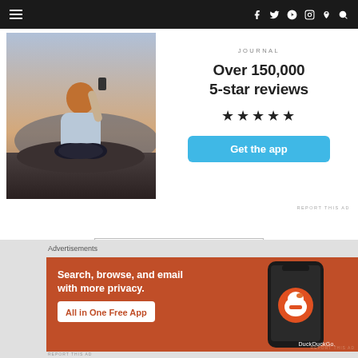navigation bar with hamburger menu and social icons: f, twitter, G+, instagram, pinterest, search
[Figure (photo): Person sitting on rocks from behind, holding a phone up to photograph a scenic outdoor landscape at dusk]
JOURNAL
Over 150,000
5-star reviews
★★★★★
Get the app
REPORT THIS AD
KEEP READING
Advertisements
[Figure (infographic): DuckDuckGo advertisement on orange/red background showing 'Search, browse, and email with more privacy. All in One Free App' with a phone image and DuckDuckGo logo]